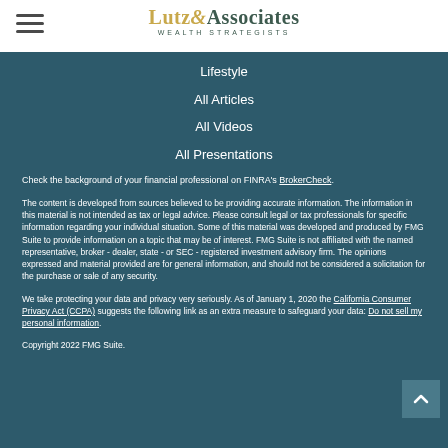[Figure (logo): Lutz & Associates Wealth Strategists logo with hamburger menu icon]
Lifestyle
All Articles
All Videos
All Presentations
Check the background of your financial professional on FINRA's BrokerCheck.
The content is developed from sources believed to be providing accurate information. The information in this material is not intended as tax or legal advice. Please consult legal or tax professionals for specific information regarding your individual situation. Some of this material was developed and produced by FMG Suite to provide information on a topic that may be of interest. FMG Suite is not affiliated with the named representative, broker - dealer, state - or SEC - registered investment advisory firm. The opinions expressed and material provided are for general information, and should not be considered a solicitation for the purchase or sale of any security.
We take protecting your data and privacy very seriously. As of January 1, 2020 the California Consumer Privacy Act (CCPA) suggests the following link as an extra measure to safeguard your data: Do not sell my personal information.
Copyright 2022 FMG Suite.